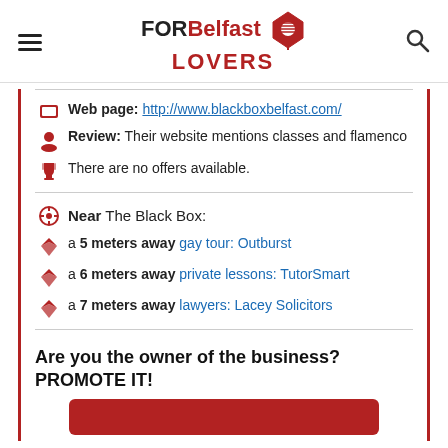FORBelfastLOVERS
Web page: http://www.blackboxbelfast.com/
Review: Their website mentions classes and flamenco
There are no offers available.
Near The Black Box:
a 5 meters away gay tour: Outburst
a 6 meters away private lessons: TutorSmart
a 7 meters away lawyers: Lacey Solicitors
Are you the owner of the business? PROMOTE IT!